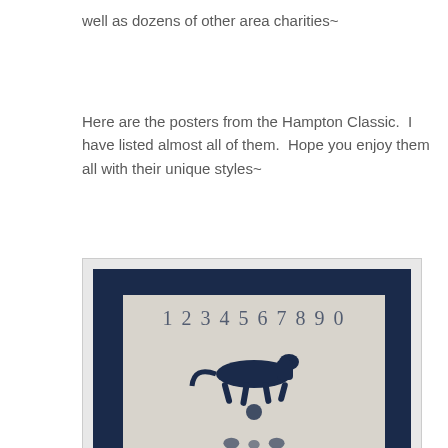well as dozens of other area charities~
Here are the posters from the Hampton Classic.  I have listed almost all of them.  Hope you enjoy them all with their unique styles~
[Figure (photo): A framed Hampton Classic poster displayed in a dark navy/blue frame. The poster inside has a light/cream background and shows a silhouette of a horse and rider jumping, with numbers 1234567890 at the top, and figures at the bottom.]